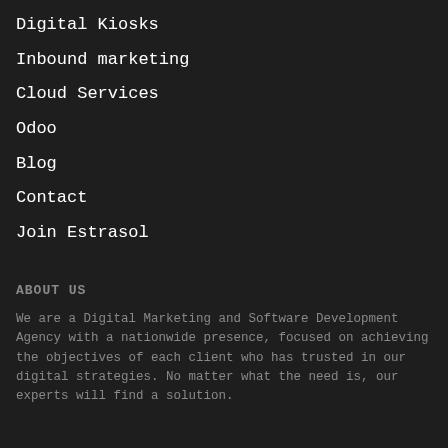Digital Kiosks
Inbound marketing
Cloud Services
Odoo
Blog
Contact
Join Estrasol
ABOUT US
We are a Digital Marketing and Software Development Agency with a nationwide presence, focused on achieving the objectives of each client who has trusted in our digital strategies. No matter what the need is, our experts will find a solution.